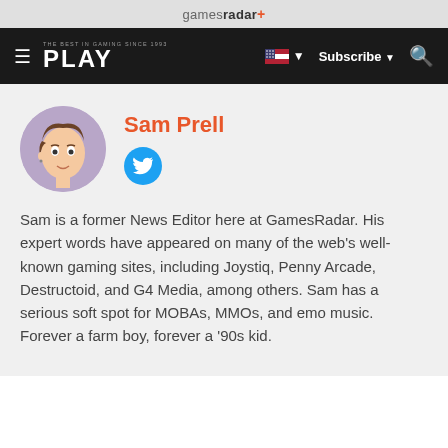gamesradar+
PLAY  Subscribe  Search
Sam Prell
Sam is a former News Editor here at GamesRadar. His expert words have appeared on many of the web's well-known gaming sites, including Joystiq, Penny Arcade, Destructoid, and G4 Media, among others. Sam has a serious soft spot for MOBAs, MMOs, and emo music. Forever a farm boy, forever a '90s kid.